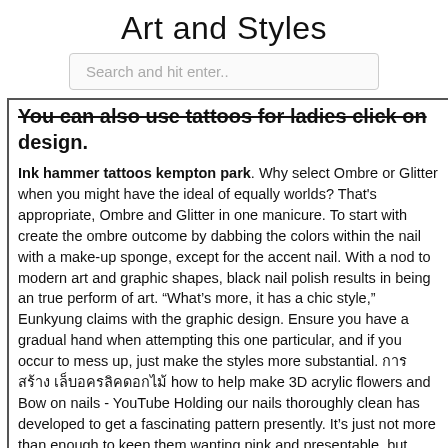Art and Styles
Search and hit enter..
You can also use tattoos for ladies click on design.
Ink hammer tattoos kempton park. Why select Ombre or Glitter when you might have the ideal of equally worlds? That's appropriate, Ombre and Glitter in one manicure. To start with create the ombre outcome by dabbing the colors within the nail with a make-up sponge, except for the accent nail. With a nod to modern art and graphic shapes, black nail polish results in being an true perform of art. “What's more, it has a chic style,” Eunkyung claims with the graphic design. Ensure you have a gradual hand when attempting this one particular, and if you occur to mess up, just make the styles more substantial. การสร้าง เล็บอครลิคดอกไม้ how to help make 3D acrylic flowers and Bow on nails - YouTube Holding our nails thoroughly clean has developed to get a fascinating pattern presently. It's just not more than enough to keep them wanting pink and presentable, but trendy nails or Nail Artwork may be the thing to follow. A 3D nail decoration is just a